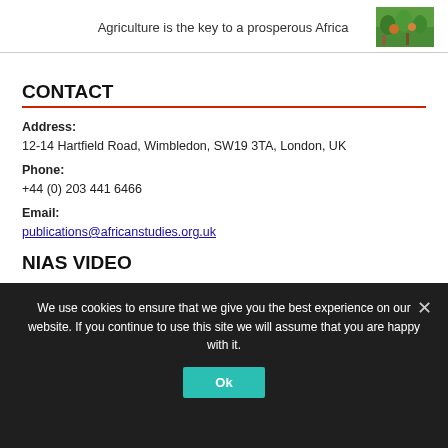Agriculture is the key to a prosperous Africa
[Figure (photo): Photo of people working in lush green agricultural field in Africa]
CONTACT
Address:
12-14 Hartfield Road, Wimbledon, SW19 3TA, London, UK
Phone:
+44 (0) 203 441 6466
Email:
publications@africanstudies.org.uk
NIAS VIDEO
We use cookies to ensure that we give you the best experience on our website. If you continue to use this site we will assume that you are happy with it.